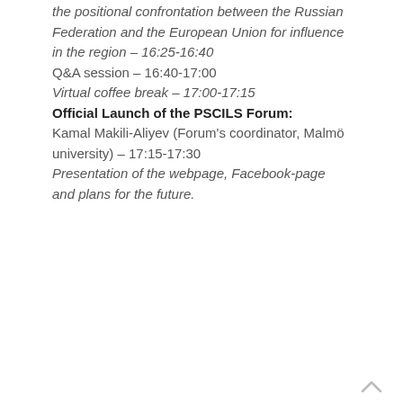the positional confrontation between the Russian Federation and the European Union for influence in the region – 16:25-16:40
Q&A session – 16:40-17:00
Virtual coffee break – 17:00-17:15
Official Launch of the PSCILS Forum:
Kamal Makili-Aliyev (Forum's coordinator, Malmö university) – 17:15-17:30
Presentation of the webpage, Facebook-page and plans for the future.